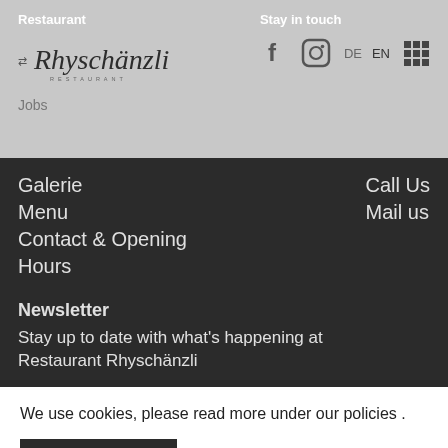Restaurant
[Figure (logo): Rhyschänzli Restaurant logo in italic script with RESTAURANT lettering below]
Stay in touch
[Figure (infographic): Facebook icon, Instagram icon, DE EN language selectors, grid/menu icon]
Jobs
Galerie
Menu
Contact & Opening Hours
Call Us
Mail us
Newsletter
Stay up to date with what's happening at Restaurant Rhyschänzli
We use cookies, please read more under our policies .
Okay